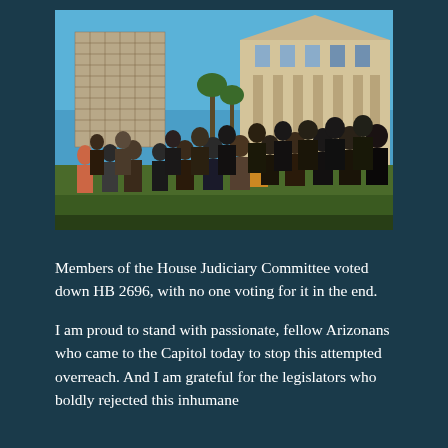[Figure (photo): Crowd of people gathered outside the Arizona State Capitol building in Phoenix. A modern office tower is visible on the left, and the historic neoclassical capitol building is on the right with ornate pediment. Blue sky in background. Protesters/attendees standing on the grounds.]
Members of the House Judiciary Committee voted down HB 2696, with no one voting for it in the end.
I am proud to stand with passionate, fellow Arizonans who came to the Capitol today to stop this attempted overreach. And I am grateful for the legislators who boldly rejected this inhumane